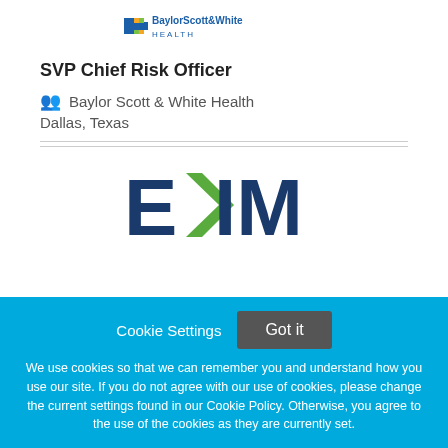[Figure (logo): Baylor Scott & White Health logo with cross/plus symbol in blue and yellow/green colors]
SVP Chief Risk Officer
🧑‍🤝‍🧑 Baylor Scott & White Health
Dallas, Texas
[Figure (logo): EXIM logo in dark blue with green arrow/chevron for the X]
Cookie Settings  Got it
We use cookies so that we can remember you and understand how you use our site. If you do not agree with our use of cookies, please change the current settings found in our Cookie Policy. Otherwise, you agree to the use of the cookies as they are currently set.